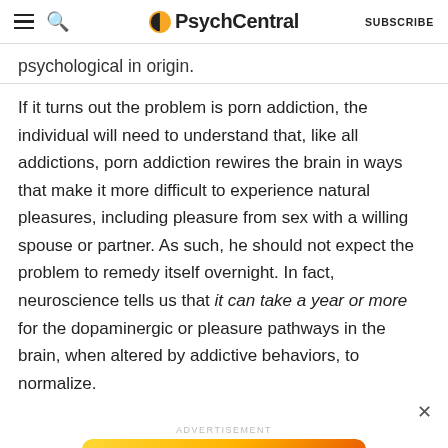PsychCentral — SUBSCRIBE
psychological in origin.
If it turns out the problem is porn addiction, the individual will need to understand that, like all addictions, porn addiction rewires the brain in ways that make it more difficult to experience natural pleasures, including pleasure from sex with a willing spouse or partner. As such, he should not expect the problem to remedy itself overnight. In fact, neuroscience tells us that it can take a year or more for the dopaminergic or pleasure pathways in the brain, when altered by addictive behaviors, to normalize.
ADVERTISEMENT
[Figure (other): PsychCentral advertisement banner: GET THE PSYCH CENTRAL — SIGN UP button]